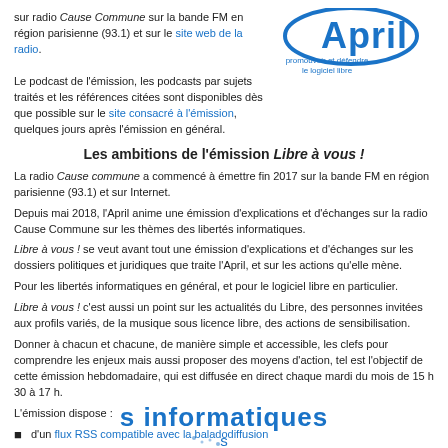sur radio Cause Commune sur la bande FM en région parisienne (93.1) et sur le site web de la radio.
[Figure (logo): April logo with tagline 'promouvoir et défendre le logiciel libre']
Le podcast de l'émission, les podcasts par sujets traités et les références citées sont disponibles dès que possible sur le site consacré à l'émission, quelques jours après l'émission en général.
Les ambitions de l'émission Libre à vous !
La radio Cause commune a commencé à émettre fin 2017 sur la bande FM en région parisienne (93.1) et sur Internet.
Depuis mai 2018, l'April anime une émission d'explications et d'échanges sur la radio Cause Commune sur les thèmes des libertés informatiques.
Libre à vous ! se veut avant tout une émission d'explications et d'échanges sur les dossiers politiques et juridiques que traite l'April, et sur les actions qu'elle mène.
Pour les libertés informatiques en général, et pour le logiciel libre en particulier.
Libre à vous ! c'est aussi un point sur les actualités du Libre, des personnes invitées aux profils variés, de la musique sous licence libre, des actions de sensibilisation.
Donner à chacun et chacune, de manière simple et accessible, les clefs pour comprendre les enjeux mais aussi proposer des moyens d'action, tel est l'objectif de cette émission hebdomadaire, qui est diffusée en direct chaque mardi du mois de 15 h 30 à 17 h.
L'émission dispose :
d'un flux RSS compatible avec la baladodiffusion
d'une lettre d'information à laquelle vous pouvez vous inscrire (pour recevoir les annonces des podcasts, des émissions à venir et toute autre actualité en lien avec l'émission)
d'un salon dédié sur le webchat de la radio
[Figure (logo): Partial bottom logo with text 'informatiques' visible]